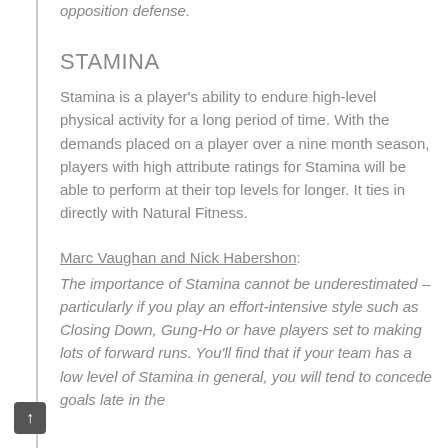opposition defense.
STAMINA
Stamina is a player's ability to endure high-level physical activity for a long period of time. With the demands placed on a player over a nine month season, players with high attribute ratings for Stamina will be able to perform at their top levels for longer. It ties in directly with Natural Fitness.
Marc Vaughan and Nick Habershon:
The importance of Stamina cannot be underestimated – particularly if you play an effort-intensive style such as Closing Down, Gung-Ho or have players set to making lots of forward runs. You'll find that if your team has a low level of Stamina in general, you will tend to concede goals late in the